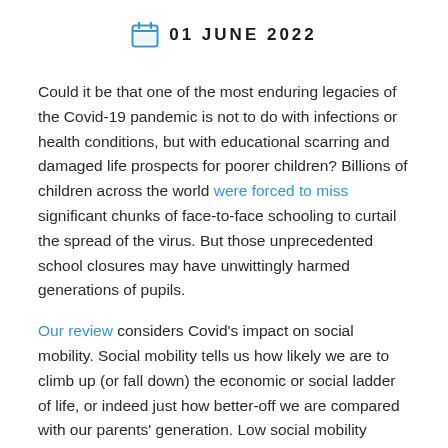01 JUNE 2022
Could it be that one of the most enduring legacies of the Covid-19 pandemic is not to do with infections or health conditions, but with educational scarring and damaged life prospects for poorer children? Billions of children across the world were forced to miss significant chunks of face-to-face schooling to curtail the spread of the virus. But those unprecedented school closures may have unwittingly harmed generations of pupils.
Our review considers Covid's impact on social mobility. Social mobility tells us how likely we are to climb up (or fall down) the economic or social ladder of life, or indeed just how better-off we are compared with our parents' generation. Low social mobility